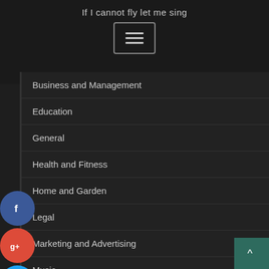If I cannot fly let me sing
[Figure (screenshot): Hamburger menu button with three horizontal lines, bordered box]
Business and Management
Education
General
Health and Fitness
Home and Garden
Legal
Marketing and Advertising
Music
Pets